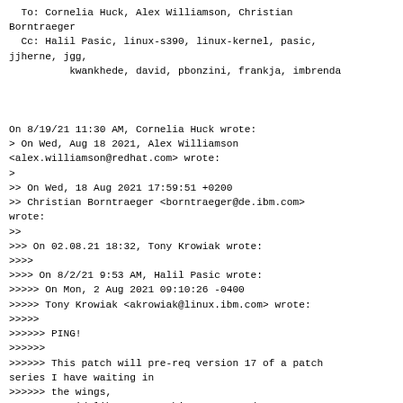To: Cornelia Huck, Alex Williamson, Christian
Borntraeger
  Cc: Halil Pasic, linux-s390, linux-kernel, pasic,
jjherne, jgg,
          kwankhede, david, pbonzini, frankja, imbrenda



On 8/19/21 11:30 AM, Cornelia Huck wrote:
> On Wed, Aug 18 2021, Alex Williamson
<alex.williamson@redhat.com> wrote:
>
>> On Wed, 18 Aug 2021 17:59:51 +0200
>> Christian Borntraeger <borntraeger@de.ibm.com>
wrote:
>>
>>> On 02.08.21 18:32, Tony Krowiak wrote:
>>>>
>>>> On 8/2/21 9:53 AM, Halil Pasic wrote:
>>>>> On Mon, 2 Aug 2021 09:10:26 -0400
>>>>> Tony Krowiak <akrowiak@linux.ibm.com> wrote:
>>>>>
>>>>>> PING!
>>>>>>
>>>>>> This patch will pre-req version 17 of a patch
series I have waiting in
>>>>>> the wings,
>>>>>> so I'd like to get this one merged ASAP. In
particular, if a KVM
>>>>>> maintainer can
>>>>>> take a look at the comments concerning the